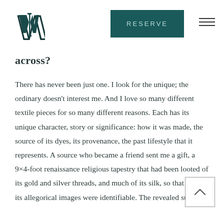WI logo | RESERVE | menu
across?
There has never been just one. I look for the unique; the ordinary doesn't interest me. And I love so many different textile pieces for so many different reasons. Each has its unique character, story or significance: how it was made, the source of its dyes, its provenance, the past lifestyle that it represents. A source who became a friend sent me a gift, a 9×4-foot renaissance religious tapestry that had been looted of its gold and silver threads, and much of its silk, so that few of its allegorical images were identifiable. The revealed surface